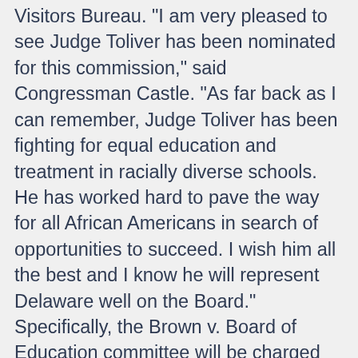Visitors Bureau. "I am very pleased to see Judge Toliver has been nominated for this commission," said Congressman Castle. "As far back as I can remember, Judge Toliver has been fighting for equal education and treatment in racially diverse schools. He has worked hard to pave the way for all African Americans in search of opportunities to succeed. I wish him all the best and I know he will represent Delaware well on the Board." Specifically, the Brown v. Board of Education committee will be charged with planning and coordinating education activities and initiatives in conjunction with the U.S. Department of Education; working with civil rights agencies to develop and coordinate observances and submit recommendations to Congress for